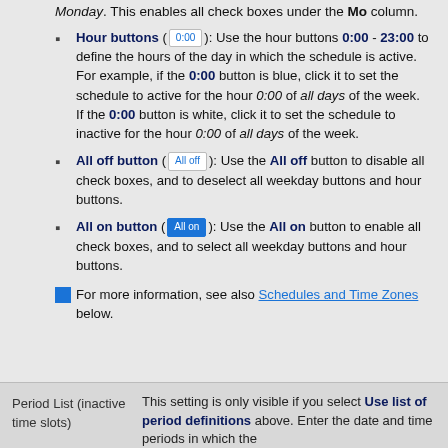Monday. This enables all check boxes under the Mo column.
Hour buttons (0:00): Use the hour buttons 0:00 - 23:00 to define the hours of the day in which the schedule is active. For example, if the 0:00 button is blue, click it to set the schedule to active for the hour 0:00 of all days of the week. If the 0:00 button is white, click it to set the schedule to inactive for the hour 0:00 of all days of the week.
All off button (All off): Use the All off button to disable all check boxes, and to deselect all weekday buttons and hour buttons.
All on button (All on): Use the All on button to enable all check boxes, and to select all weekday buttons and hour buttons.
For more information, see also Schedules and Time Zones below.
| Period List (inactive time slots) | Description |
| --- | --- |
| Period List (inactive time slots) | This setting is only visible if you select Use list of period definitions above. Enter the date and time periods in which the |